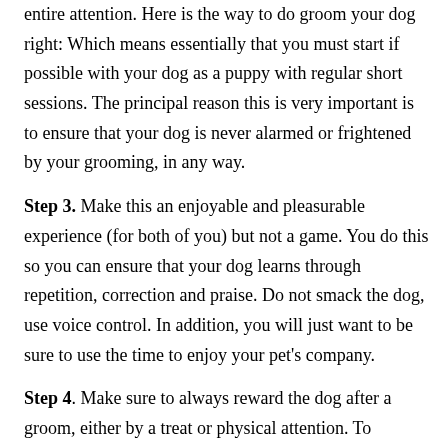entire attention. Here is the way to do groom your dog right: Which means essentially that you must start if possible with your dog as a puppy with regular short sessions. The principal reason this is very important is to ensure that your dog is never alarmed or frightened by your grooming, in any way.
Step 3. Make this an enjoyable and pleasurable experience (for both of you) but not a game. You do this so you can ensure that your dog learns through repetition, correction and praise. Do not smack the dog, use voice control. In addition, you will just want to be sure to use the time to enjoy your pet's company.
Step 4. Make sure to always reward the dog after a groom, either by a treat or physical attention. To elaborate that into some more detail, do give a small treat, but nothing so large as a bone.